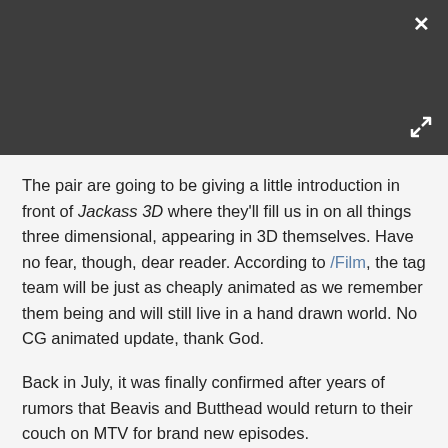[Figure (screenshot): Dark grey video/media panel with a white X close button in the top-right corner and a white expand/fullscreen icon in the bottom-right corner.]
The pair are going to be giving a little introduction in front of Jackass 3D where they'll fill us in on all things three dimensional, appearing in 3D themselves. Have no fear, though, dear reader. According to /Film, the tag team will be just as cheaply animated as we remember them being and will still live in a hand drawn world. No CG animated update, thank God.
Back in July, it was finally confirmed after years of rumors that Beavis and Butthead would return to their couch on MTV for brand new episodes.